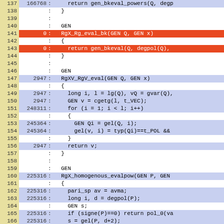[Figure (screenshot): Code coverage viewer showing source code lines 137-166 with hit counts. Lines highlighted in blue are covered, lines in orange/red are uncovered. Yellow gutter on the left contains line numbers.]